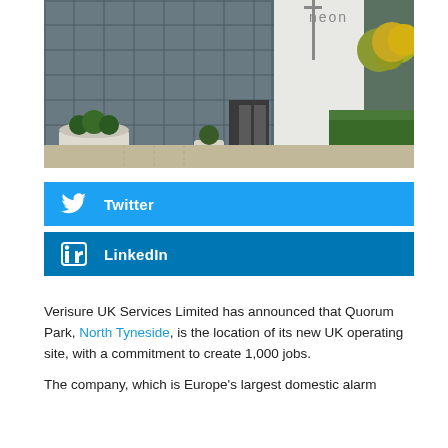[Figure (photo): Exterior of a modern office building with glass facade, 'neon' signage, potted trees, and green hedges in a parking area]
[Figure (infographic): Twitter social media button bar in blue with Twitter bird icon and white bold text 'Twitter']
[Figure (infographic): LinkedIn social media button bar in dark blue with 'in' LinkedIn icon and white bold text 'LinkedIn']
Verisure UK Services Limited has announced that Quorum Park, North Tyneside, is the location of its new UK operating site, with a commitment to create 1,000 jobs.
The company, which is Europe's largest domestic alarm